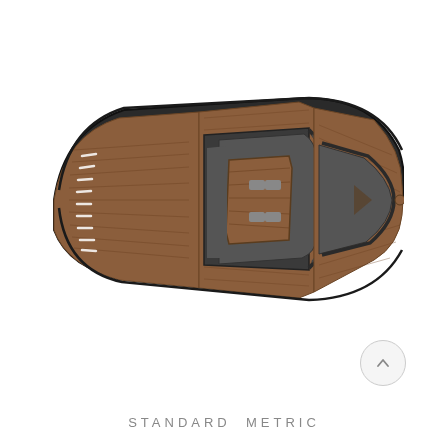[Figure (engineering-diagram): Top-down aerial view schematic of a luxury motor yacht with teak wood decking shown in brown, dark gray/black hull and structural elements, gray interior cabin areas, and detailed cockpit layout with seating, console, and bow section visible.]
STANDARD  METRIC